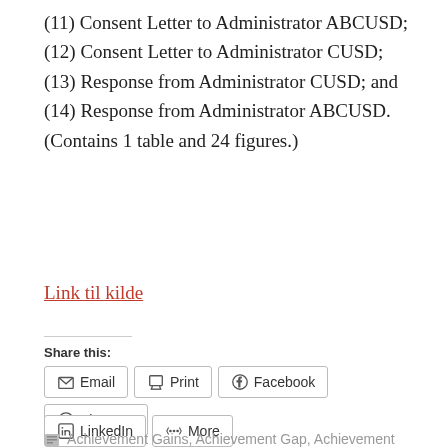(11) Consent Letter to Administrator ABCUSD; (12) Consent Letter to Administrator CUSD; (13) Response from Administrator CUSD; and (14) Response from Administrator ABCUSD. (Contains 1 table and 24 figures.)
Link til kilde
Share this:
Email  Print  Facebook  Pinterest
LinkedIn  More
Privacy & Cookies: This site uses cookies. By continuing to use this website, you agree to their use.
To find out more, including how to control cookies, see here: Cookie Policy
Close and accept
Achievement Gains, Achievement Gap, Achievement